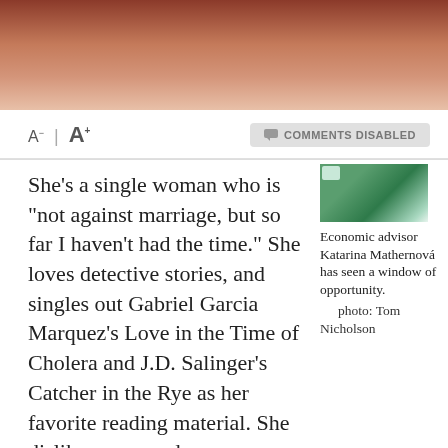[Figure (photo): Close-up photo of a person's face, reddish-brown tones, cropped at top of page]
A- | A+   COMMENTS DISABLED
She's a single woman who is "not against marriage, but so far I haven't had the time." She loves detective stories, and singles out Gabriel Garcia Marquez's Love in the Time of Cholera and J.D. Salinger's Catcher in the Rye as her favorite reading material. She dislikes envy and narrow-mindedness, and respects generosity, decency, and straight-forwardness. In the words of MP František Mikloško, she's "the
[Figure (photo): Small thumbnail photo with green background, sidebar image]
Economic advisor Katarina Mathernová has seen a window of opportunity. photo: Tom Nicholson